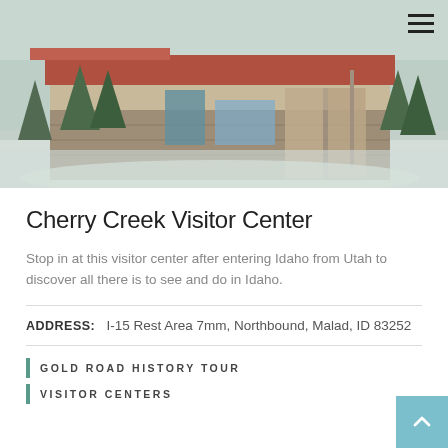[Figure (photo): Exterior photo of Cherry Creek Visitor Center building in winter with snow on the ground, stone and wood construction, surrounded by evergreen trees and mountains in the background.]
Cherry Creek Visitor Center
Stop in at this visitor center after entering Idaho from Utah to discover all there is to see and do in Idaho.
ADDRESS: I-15 Rest Area 7mm, Northbound, Malad, ID 83252
GOLD ROAD HISTORY TOUR
VISITOR CENTERS